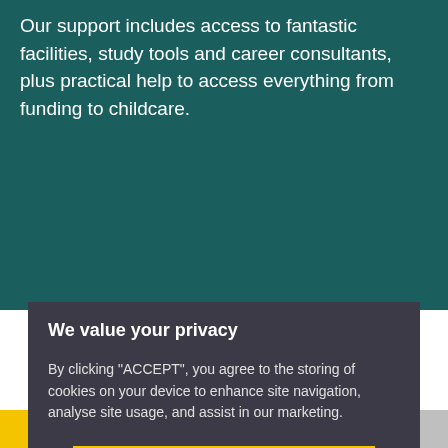Our support includes access to fantastic facilities, study tools and career consultants, plus practical help to access everything from funding to childcare.
We value your privacy
By clicking "ACCEPT", you agree to the storing of cookies on your device to enhance site navigation, analyse site usage, and assist in our marketing.
ACCEPT
VIEW COOKIE SETTINGS